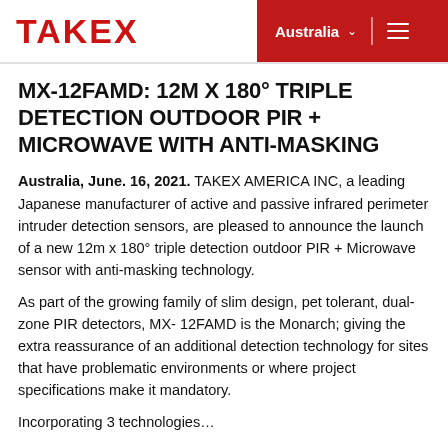TAKEX | Australia
MX-12FAMD: 12M X 180° TRIPLE DETECTION OUTDOOR PIR + MICROWAVE WITH ANTI-MASKING
Australia, June. 16, 2021. TAKEX AMERICA INC, a leading Japanese manufacturer of active and passive infrared perimeter intruder detection sensors, are pleased to announce the launch of a new 12m x 180° triple detection outdoor PIR + Microwave sensor with anti-masking technology.
As part of the growing family of slim design, pet tolerant, dual-zone PIR detectors, MX- 12FAMD is the Monarch; giving the extra reassurance of an additional detection technology for sites that have problematic environments or where project specifications make it mandatory.
Incorporating 3 technologies…